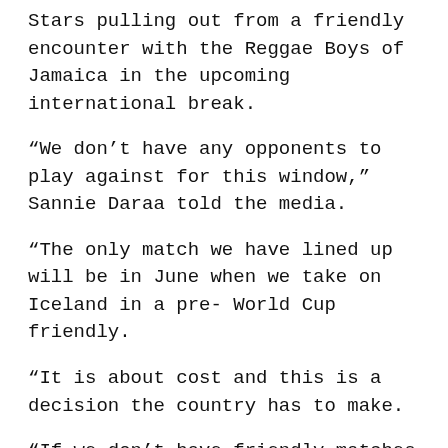Stars pulling out from a friendly encounter with the Reggae Boys of Jamaica in the upcoming international break.
“We don’t have any opponents to play against for this window,” Sannie Daraa told the media.
“The only match we have lined up will be in June when we take on Iceland in a pre- World Cup friendly.
“It is about cost and this is a decision the country has to make.
“If we don’t have friendly matches we must organise them and pay for it.
“If the funds are not available there is very little we can do about it,” Communications Director of the GFA Ibrahim Saani Daara revealed.